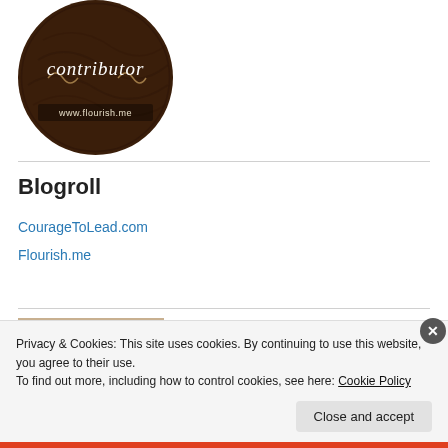[Figure (logo): Circular dark wood badge with cursive 'contributor' text and 'www.flourish.me' URL label at bottom]
Blogroll
CourageToLead.com
Flourish.me
[Figure (photo): Partial photo of bookshelves with books and a person]
Privacy & Cookies: This site uses cookies. By continuing to use this website, you agree to their use.
To find out more, including how to control cookies, see here: Cookie Policy
Close and accept